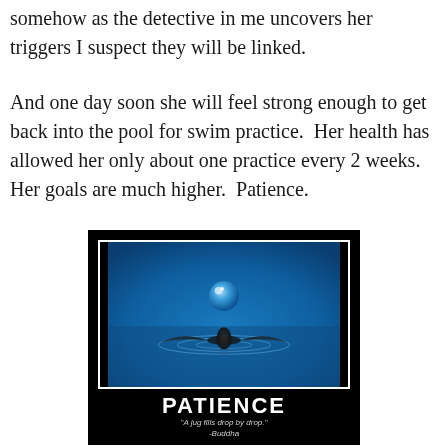somehow as the detective in me uncovers her triggers I suspect they will be linked.
And one day soon she will feel strong enough to get back into the pool for swim practice.  Her health has allowed her only about one practice every 2 weeks.  Her goals are much higher.  Patience.
[Figure (photo): Motivational poster with black background. Center shows a photograph of a water droplet splash in blue water with a spherical droplet suspended above the splash crown. Below the photo in white bold text: PATIENCE. Below that in smaller italic text: 'A jug fills drop by drop.' -Buddha]